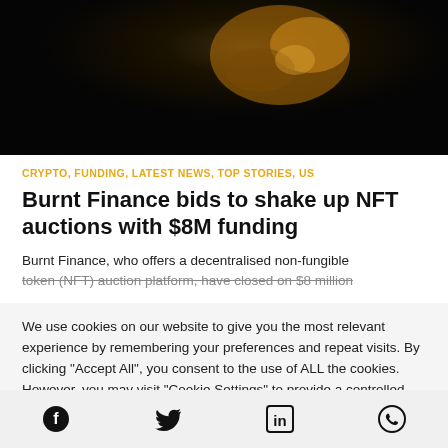[Figure (photo): Dark hero image showing an NFT or digital art piece with warm orange/golden tones against a black background]
CRYPTO, FUNDING, LATEST NEWS, TOP STORIES, US
Burnt Finance bids to shake up NFT auctions with $8M funding
Burnt Finance, who offers a decentralised non-fungible token (NFT) auction platform, have closed on $8 million
We use cookies on our website to give you the most relevant experience by remembering your preferences and repeat visits. By clicking "Accept All", you consent to the use of ALL the cookies. However, you may visit "Cookie Settings" to provide a controlled consent.
[Figure (illustration): Social media share icons: Facebook, Twitter, LinkedIn, WhatsApp]